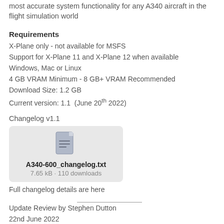most accurate system functionality for any A340 aircraft in the flight simulation world
Requirements
X-Plane only - not available for MSFS
Support for X-Plane 11 and X-Plane 12 when available
Windows, Mac or Linux
4 GB VRAM Minimum - 8 GB+ VRAM Recommended
Download Size: 1.2 GB
Current version: 1.1  (June 20th 2022)
Changelog v1.1
[Figure (other): File download box showing A340-600_changelog.txt, 7.65 kB, 110 downloads, with document icon]
Full changelog details are here
Update Review by Stephen Dutton
22nd June 2022